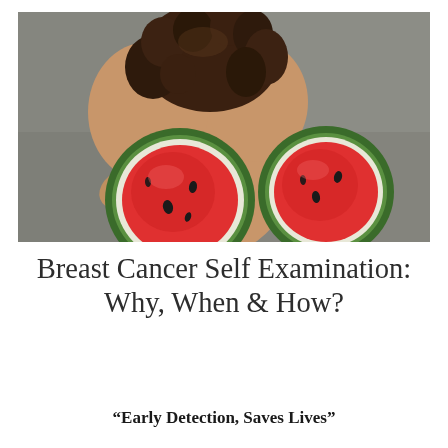[Figure (photo): A woman with curly dark hair, seen from behind, holding two halved watermelons in front of her chest, suggesting a breast cancer awareness theme. Background is gray/concrete.]
Breast Cancer Self Examination: Why, When & How?
“Early Detection, Saves Lives”